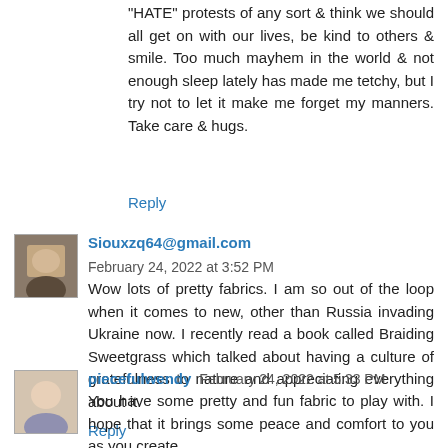"HATE" protests of any sort & think we should all get on with our lives, be kind to others & smile. Too much mayhem in the world & not enough sleep lately has made me tetchy, but I try not to let it make me forget my manners. Take care & hugs.
Reply
Siouxzq64@gmail.com  February 24, 2022 at 3:52 PM
Wow lots of pretty fabrics. I am so out of the loop when it comes to new, other than Russia invading Ukraine now. I recently read a book called Braiding Sweetgrass which talked about having a culture of gratefulness to nature and appreciating everything about it.
Reply
piecefulwendy  February 24, 2022 at 5:33 PM
You have some pretty and fun fabric to play with. I hope that it brings some peace and comfort to you as you create